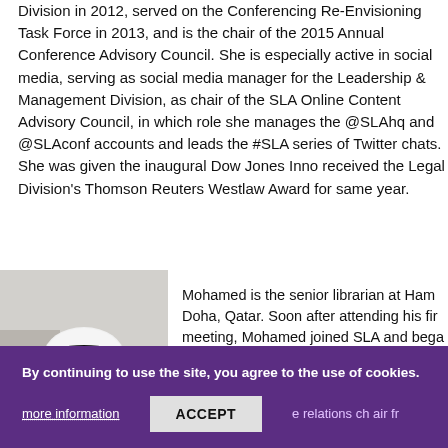Division in 2012, served on the Conferencing Re-Envisioning Task Force in 2013, and is the chair of the 2015 Annual Conference Advisory Council. She is especially active in social media, serving as social media manager for the Leadership & Management Division, as chair of the SLA Online Content Advisory Council, in which role she manages the @SLAhq and @SLAconf accounts and leads the #SLA series of Twitter chats. She was given the inaugural Dow Jones Innovation Award and received the Legal Division's Thomson Reuters Westlaw Award for Outstanding Service the same year.
[Figure (photo): Portrait photo of Mohamed, a man wearing traditional Gulf/Qatari white thoub and white ghutrah headdress with black agal, smiling, photographed indoors.]
Mohamed is the senior librarian at Hamad bin Khalifa University in Doha, Qatar. Soon after attending his first SLA Gulf chapter meeting, Mohamed joined SLA and began advocating for information professionals in academia and research. Encouraged by his then-library director, an SLA member, to get involved, he gained valuable leadership skills by volunteering as publications chair, as member relations chair from 2010 to 2012, and as president of the chapter from 2012–2014. He now works on open access to help raise the research impact
By continuing to use the site, you agree to the use of cookies.
more information
ACCEPT